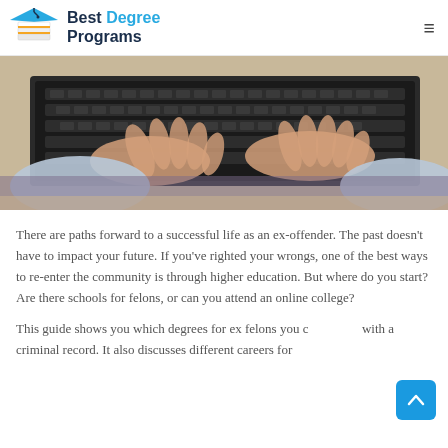Best Degree Programs
[Figure (photo): Person typing on a laptop keyboard, viewed from above and behind, wearing a light blue shirt]
There are paths forward to a successful life as an ex-offender. The past doesn't have to impact your future. If you've righted your wrongs, one of the best ways to re-enter the community is through higher education. But where do you start? Are there schools for felons, or can you attend an online college?
This guide shows you which degrees for ex felons you can pursue with a criminal record. It also discusses different careers for